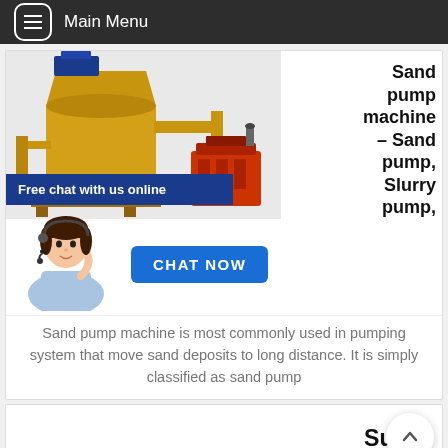Main Menu
[Figure (photo): Yellow sand pump machine industrial equipment with blue motor on top, red engine on the right side]
Sand pump machine – Sand pump, Slurry pump,
Free chat with us online
[Figure (illustration): Customer service avatar: woman with headset in blue outfit]
CHAT NOW
Sand pump machine is most commonly used in pumping system that move sand deposits to long distance. It is simply classified as sand pump
Sump Pump Pit